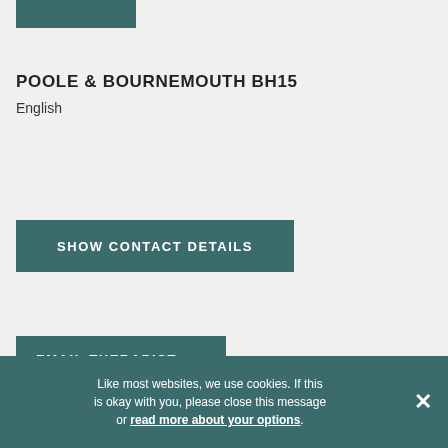[Figure (logo): Teal/dark green rectangular logo box in the top left corner]
POOLE & BOURNEMOUTH BH15
English
SHOW CONTACT DETAILS
EMAIL THERAPIST
Like most websites, we use cookies. If this is okay with you, please close this message or read more about your options.